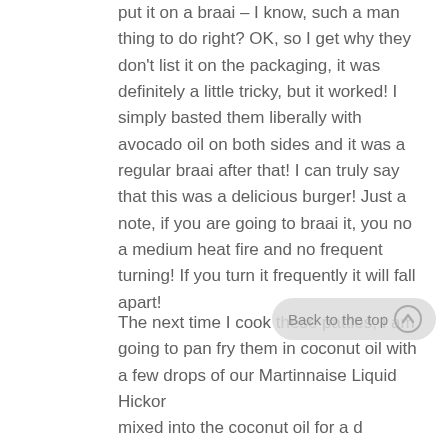put it on a braai – I know, such a man thing to do right? OK, so I get why they don't list it on the packaging, it was definitely a little tricky, but it worked! I simply basted them liberally with avocado oil on both sides and it was a regular braai after that! I can truly say that this was a delicious burger! Just a note, if you are going to braai it, you no a medium heat fire and no frequent turning! If you turn it frequently it will fall apart!
The next time I cook these patties, I am going to pan fry them in coconut oil with a few drops of our Martinnaise Liquid Hickory Smoke mixed into the coconut oil for a different adventure and probably use our Martinnaise Original Vegan Mayonnaise……yummy!